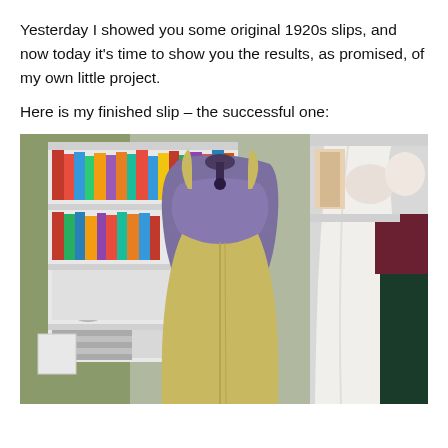Yesterday I showed you some original 1920s slips, and now today it's time to show you the results, as promised, of my own little project.
Here is my finished slip – the successful one:
[Figure (photo): A yellow/gold slip dress displayed on a purple dress form mannequin, viewed from the back, showing thin straps and a seam down the center back. Behind the mannequin are bookshelves with colorful books, a desk lamp, and other clothing items hanging to the right.]